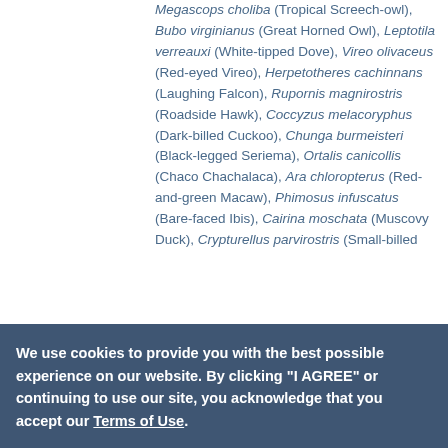Megascops choliba (Tropical Screech-owl), Bubo virginianus (Great Horned Owl), Leptotila verreauxi (White-tipped Dove), Vireo olivaceus (Red-eyed Vireo), Herpetotheres cachinnans (Laughing Falcon), Rupornis magnirostris (Roadside Hawk), Coccyzus melacoryphus (Dark-billed Cuckoo), Chunga burmeisteri (Black-legged Seriema), Ortalis canicollis (Chaco Chachalaca), Ara chloropterus (Red-and-green Macaw), Phimosus infuscatus (Bare-faced Ibis), Cairina moschata (Muscovy Duck), Crypturellus parvirostris (Small-billed
We use cookies to provide you with the best possible experience on our website. By clicking "I AGREE" or continuing to use our site, you acknowledge that you accept our Terms of Use.